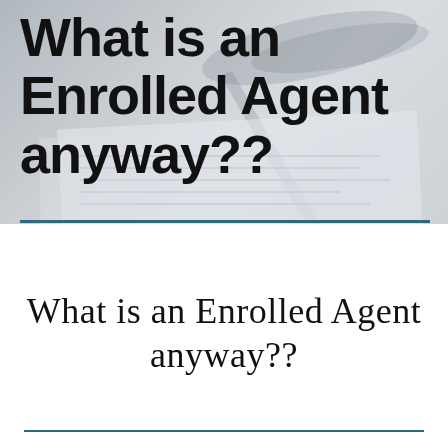[Figure (photo): Background photo of eyeglasses, a pen, and tax/financial documents on a desk, rendered in grayscale/muted tones behind a bold title text overlay]
What is an Enrolled Agent anyway??
What is an Enrolled Agent anyway??